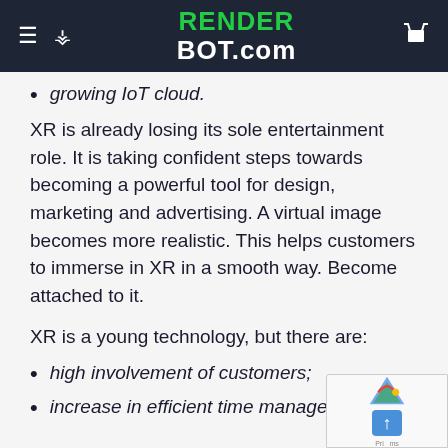RENDER BOT.com
growing IoT cloud.
XR is already losing its sole entertainment role. It is taking confident steps towards becoming a powerful tool for design, marketing and advertising. A virtual image becomes more realistic. This helps customers to immerse in XR in a smooth way. Become attached to it.
XR is a young technology, but there are:
high involvement of customers;
increase in efficient time management;